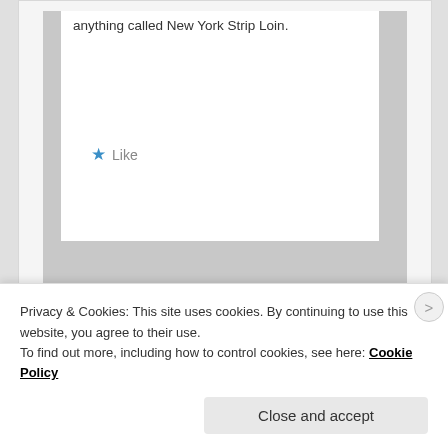anything called New York Strip Loin.
★ Like
Pingback: Dr. H. L. Newbold on Ground Meat | Eat Meat. Drink Water.
Pingback: What Must I Do to Get Well? by Elma
Privacy & Cookies: This site uses cookies. By continuing to use this website, you agree to their use.
To find out more, including how to control cookies, see here: Cookie Policy